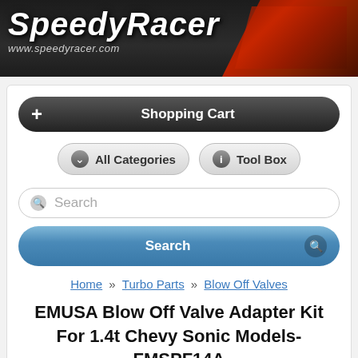[Figure (logo): SpeedyRacer logo banner with website URL www.speedyracer.com on dark background with red racing car accent]
+ Shopping Cart
All Categories   Tool Box
Search
Search
Home » Turbo Parts » Blow Off Valves
EMUSA Blow Off Valve Adapter Kit For 1.4t Chevy Sonic Models-FMSPF14A